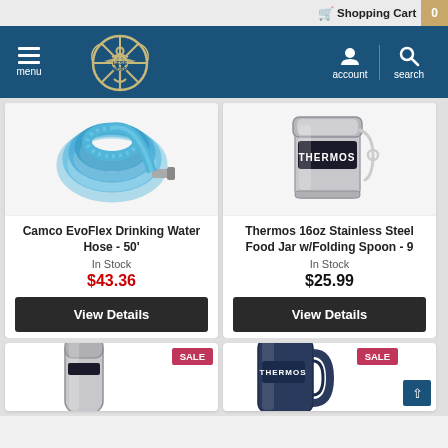Shopping Cart 0
[Figure (logo): Less is More nautical anchor/ship wheel logo on blue navigation bar]
[Figure (photo): Camco EvoFlex Drinking Water Hose coiled blue hose]
Camco EvoFlex Drinking Water Hose - 50'
In Stock
$43.36
View Details
[Figure (photo): Thermos 16oz Stainless Steel Food Jar with folding spoon, silver]
Thermos 16oz Stainless Steel Food Jar w/Folding Spoon - 9
In Stock
$25.99
View Details
[Figure (photo): Thermos stainless steel bottle, partial view, SALE badge]
[Figure (photo): Thermos mug dark blue, partial view, SALE badge]